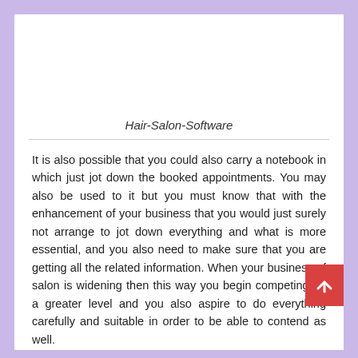Hair-Salon-Software
It is also possible that you could also carry a notebook in which just jot down the booked appointments. You may also be used to it but you must know that with the enhancement of your business that you would just surely not arrange to jot down everything and what is more essential, and you also need to make sure that you are getting all the related information. When your business of salon is widening then this way you begin competing on a greater level and you also aspire to do everything carefully and suitable in order to be able to contend as well.
Also Read:  downloading Office for Windows and Mac